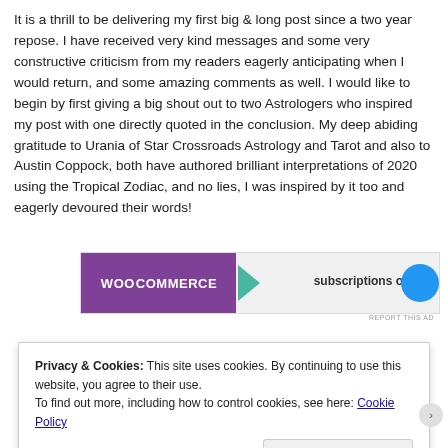It is a thrill to be delivering my first big & long post since a two year repose. I have received very kind messages and some very constructive criticism from my readers eagerly anticipating when I would return, and some amazing comments as well. I would like to begin by first giving a big shout out to two Astrologers who inspired my post with one directly quoted in the conclusion. My deep abiding gratitude to Urania of Star Crossroads Astrology and Tarot and also to Austin Coppock, both have authored brilliant interpretations of 2020 using the Tropical Zodiac, and no lies, I was inspired by it too and eagerly devoured their words!
[Figure (screenshot): WooCommerce advertisement banner with purple logo, teal arrow, and text 'subscriptions online' with blue circle graphic. REPORT THIS AD text below.]
Privacy & Cookies: This site uses cookies. By continuing to use this website, you agree to their use.
To find out more, including how to control cookies, see here: Cookie Policy
Close and accept